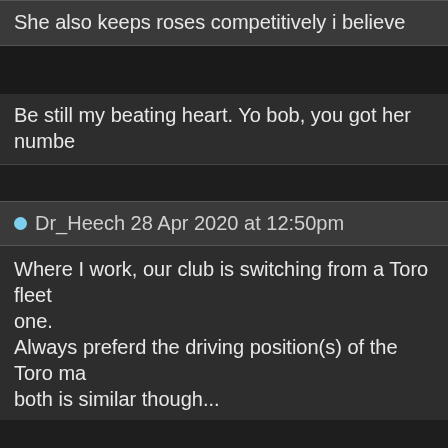She also keeps roses competitively i believe
Be still my beating heart. Yo bob, you got her numbe
Dr_Heech 28 Apr 2020 at 12:50pm
Where I work, our club is switching from a Toro fleet one. Always preferd the driving position(s) of the Toro ma both is similar though...
mr randal 28 Apr 2020 at 1:35pm
My company always used electric toros, and I alway They're a pain to lug around to various yards during